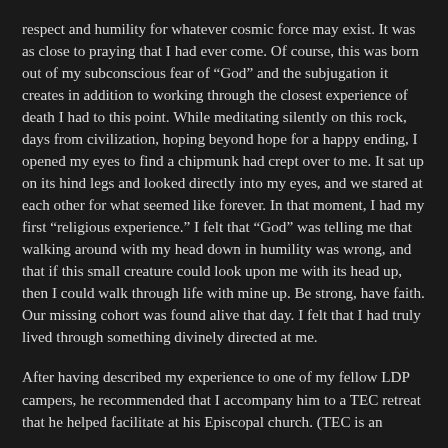respect and humility for whatever cosmic force may exist. It was as close to praying that I had ever come. Of course, this was born out of my subconscious fear of “God” and the subjugation it creates in addition to working through the closest experience of death I had to this point. While meditating silently on this rock, days from civilization, hoping beyond hope for a happy ending, I opened my eyes to find a chipmunk had crept over to me. It sat up on its hind legs and looked directly into my eyes, and we stared at each other for what seemed like forever. In that moment, I had my first “religious experience.” I felt that “God” was telling me that walking around with my head down in humility was wrong, and that if this small creature could look upon me with its head up, then I could walk through life with mine up. Be strong, have faith. Our missing cohort was found alive that day. I felt that I had truly lived through something divinely directed at me.
After having described my experience to one of my fellow LDP campers, he recommended that I accompany him to a TEC retreat that he helped facilitate at his Episcopal church. (TEC is an